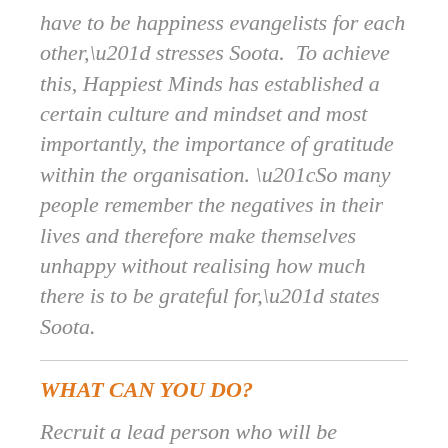have to be happiness evangelists for each other,” stresses Soota.  To achieve this, Happiest Minds has established a certain culture and mindset and most importantly, the importance of gratitude within the organisation. “So many people remember the negatives in their lives and therefore make themselves unhappy without realising how much there is to be grateful for,” states Soota.
WHAT CAN YOU DO?
Recruit a lead person who will be